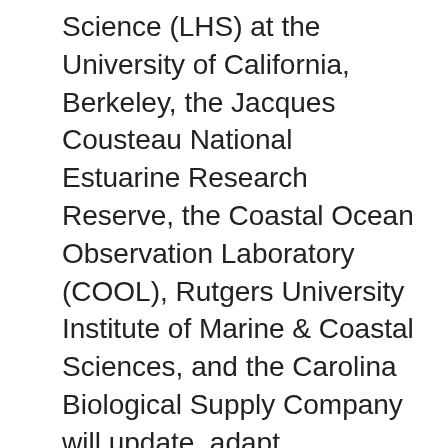Science (LHS) at the University of California, Berkeley, the Jacques Cousteau National Estuarine Research Reserve, the Coastal Ocean Observation Laboratory (COOL), Rutgers University Institute of Marine & Coastal Sciences, and the Carolina Biological Supply Company will update, adapt, transform, and widely disseminate existing instructional materials from the LHS Marine Activities Resources & Education (MARE) and Great Explorations in Mathematics and Sciences (GEMS) programs.
Show More ▼